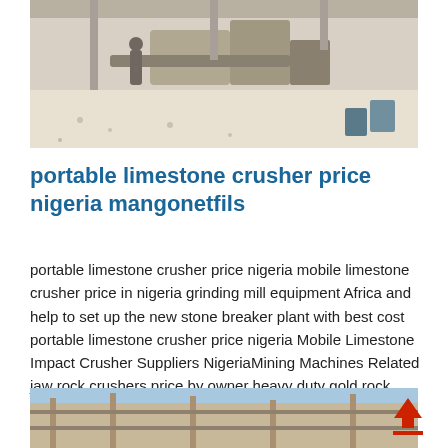[Figure (photo): Industrial equipment inside a processing facility, showing machinery and a worker in the background, with gravel or grain on the floor.]
portable limestone crusher price nigeria mangonetfils
portable limestone crusher price nigeria mobile limestone crusher price in nigeria grinding mill equipment Africa and help to set up the new stone breaker plant with best cost portable limestone crusher price nigeria Mobile Limestone Impact Crusher Suppliers NigeriaMining Machines Related jaw rock crushers price by owner heavy duty gold rock crushers copper portable portable coal jaw
[Figure (photo): Construction scaffolding and building structure photographed from below, with blue sky visible.]